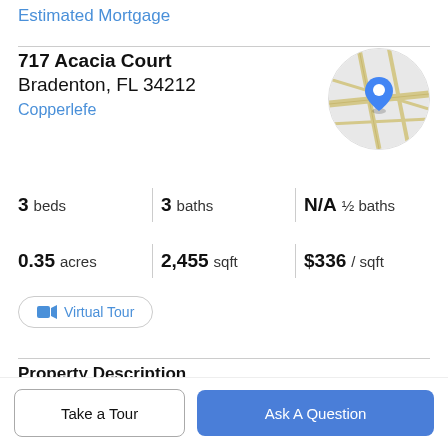Estimated Mortgage
717 Acacia Court
Bradenton, FL 34212
Copperlefe
[Figure (map): Circular map thumbnail showing streets with a blue location pin marker in the center]
3 beds | 3 baths | N/A ½ baths
0.35 acres | 2,455 sqft | $336 / sqft
Virtual Tour
Property Description
Welcome to paradise in Copperlefe, a hidden gem of a neighborhood with low HOA fees and NO CDD fee in East
Take a Tour
Ask A Question